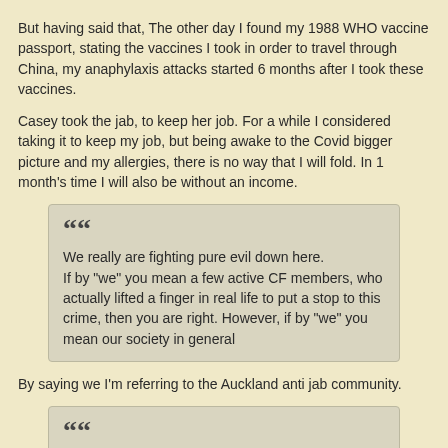But having said that, The other day I found my 1988 WHO vaccine passport, stating the vaccines I took in order to travel through China, my anaphylaxis attacks started 6 months after I took these vaccines.
Casey took the jab, to keep her job. For a while I considered taking it to keep my job, but being awake to the Covid bigger picture and my allergies, there is no way that I will fold. In 1 month's time I will also be without an income.
We really are fighting pure evil down here.
If by "we" you mean a few active CF members, who actually lifted a finger in real life to put a stop to this crime, then you are right. However, if by "we" you mean our society in general
By saying we I'm referring to the Auckland anti jab community.
I honestly have to say, as ungrateful as real truthers have been treated, my own empathy towards consequences of known and warned-about stupid actions is shrinking.
As much as I agree with the above, I think it pays to reflect how a truther first becomes awakened.